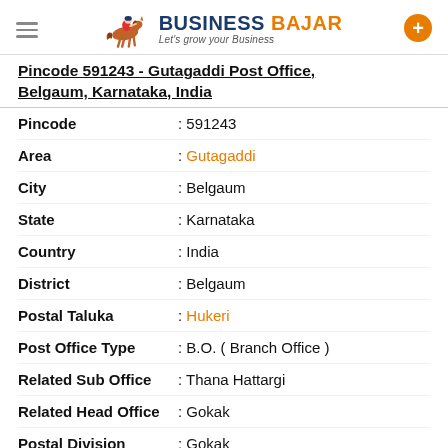Business Bajar — Let's grow your Business
Pincode 591243 - Gutagaddi Post Office, Belgaum, Karnataka, India
| Field | Value |
| --- | --- |
| Pincode | 591243 |
| Area | Gutagaddi |
| City | Belgaum |
| State | Karnataka |
| Country | India |
| District | Belgaum |
| Postal Taluka | Hukeri |
| Post Office Type | B.O. ( Branch Office ) |
| Related Sub Office | Thana Hattargi |
| Related Head Office | Gokak |
| Postal Division | Gokak |
| Postal Region | North Karnataka |